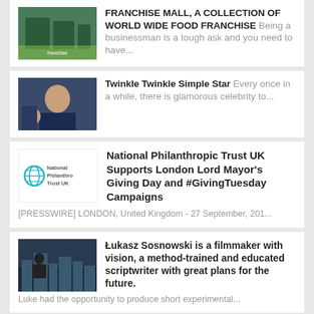[Figure (photo): Thumbnail image for franchise mall article]
FRANCHISE MALL, A COLLECTION OF WORLD WIDE FOOD FRANCHISE Being a businessman is a tough ask and you need to have...
[Figure (photo): Thumbnail image for Twinkle Twinkle Simple Star article]
Twinkle Twinkle Simple Star Every once in a while, there is glamorous celebrity to...
[Figure (logo): National Philanthropic Trust UK logo]
National Philanthropic Trust UK Supports London Lord Mayor's Giving Day and #GivingTuesday Campaigns [PRESSWIRE] LONDON, United Kingdom - 27 September, 201...
[Figure (photo): Thumbnail image for Lukasz Sosnowski filmmaker article]
Łukasz Sosnowski is a filmmaker with vision, a method-trained and educated scriptwriter with great plans for the future. Luke had the opportunity to produce short experimental...
[Figure (photo): Thumbnail image for Zero Gravity Airliner article]
Zero Gravity Airliner for the Common man – A soon to be reality